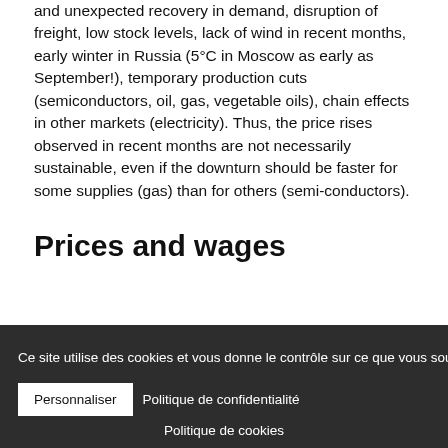and unexpected recovery in demand, disruption of freight, low stock levels, lack of wind in recent months, early winter in Russia (5°C in Moscow as early as September!), temporary production cuts (semiconductors, oil, gas, vegetable oils), chain effects in other markets (electricity). Thus, the price rises observed in recent months are not necessarily sustainable, even if the downturn should be faster for some supplies (gas) than for others (semi-conductors).
Prices and wages
In the 1970s, an increase in energy prices of 9.3%, as forecast by INSEE for 2021 in France (after a 6.1% drop in
Ce site utilise des cookies et vous donne le contrôle sur ce que vous souhaitez activer ✓ Tout accepter ✗ Tout refuser Personnaliser Politique de confidentialité Politique de cookies